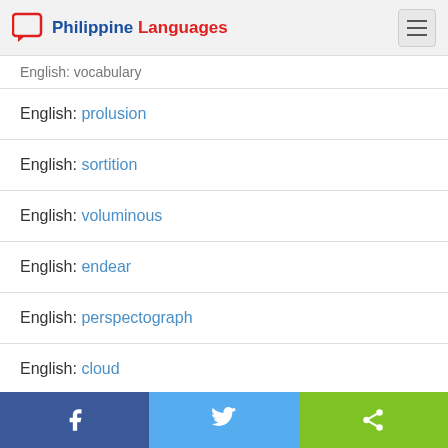Philippine Languages
English: vocabulary
English: prolusion
English: sortition
English: voluminous
English: endear
English: perspectograph
English: cloud
Facebook | Twitter | Share